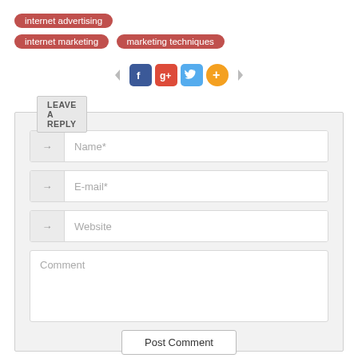internet advertising
internet marketing
marketing techniques
[Figure (screenshot): Social sharing buttons row with left/right arrows, Facebook, Google+, Twitter, and Add (+) icons]
LEAVE A REPLY
Name*
E-mail*
Website
Comment
Post Comment